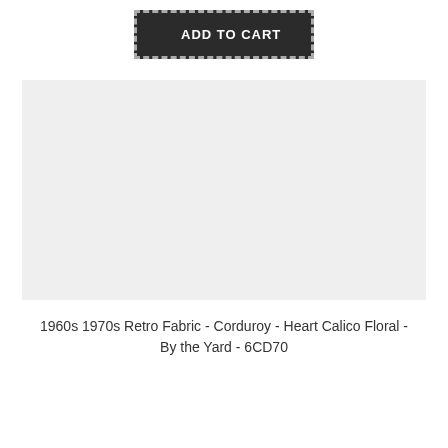[Figure (other): Dark button with dashed border reading ADD TO CART]
[Figure (other): Light gray image placeholder rectangle]
1960s 1970s Retro Fabric - Corduroy - Heart Calico Floral - By the Yard - 6CD70